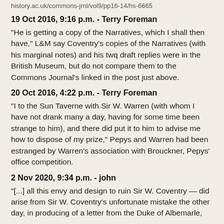history.ac.uk/commons-jrnl/vol9/pp16-14/hs-6665
19 Oct 2016, 9:16 p.m. - Terry Foreman
"He is getting a copy of the Narratives, which I shall then have," L&M say Coventry's copies of the Narratives (with his marginal notes) and his twq draft replies were in the British Museum, but do not compare them to the Commons Journal's linked in the post just above.
20 Oct 2016, 4:22 p.m. - Terry Foreman
"I to the Sun Taverne with Sir W. Warren (with whom I have not drank many a day, having for some time been strange to him), and there did put it to him to advise me how to dispose of my prize," Pepys and Warren had been estranged by Warren's association with Brouckner, Pepys' office competition.
2 Nov 2020, 9:34 p.m. - john
"[...] all this envy and design to ruin Sir W. Coventry — did arise from Sir W. Coventry's unfortunate mistake the other day, in producing of a letter from the Duke of Albemarle,